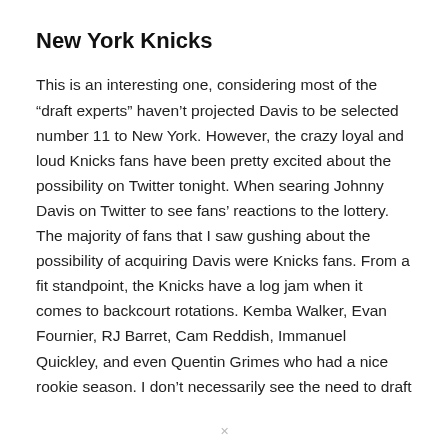New York Knicks
This is an interesting one, considering most of the “draft experts” haven’t projected Davis to be selected number 11 to New York. However, the crazy loyal and loud Knicks fans have been pretty excited about the possibility on Twitter tonight. When searing Johnny Davis on Twitter to see fans’ reactions to the lottery. The majority of fans that I saw gushing about the possibility of acquiring Davis were Knicks fans. From a fit standpoint, the Knicks have a log jam when it comes to backcourt rotations. Kemba Walker, Evan Fournier, RJ Barret, Cam Reddish, Immanuel Quickley, and even Quentin Grimes who had a nice rookie season. I don’t necessarily see the need to draft